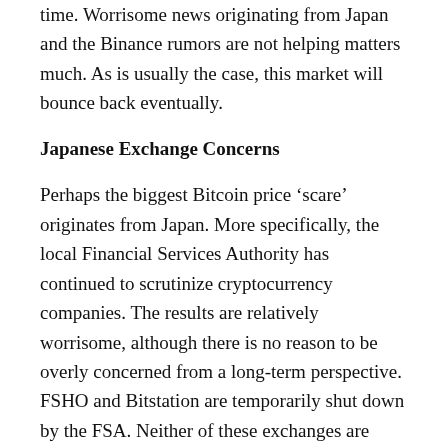time. Worrisome news originating from Japan and the Binance rumors are not helping matters much. As is usually the case, this market will bounce back eventually.
Japanese Exchange Concerns
Perhaps the biggest Bitcoin price ‘scare’ originates from Japan. More specifically, the local Financial Services Authority has continued to scrutinize cryptocurrency companies. The results are relatively worrisome, although there is no reason to be overly concerned from a long-term perspective. FSHO and Bitstation are temporarily shut down by the FSA. Neither of these exchanges are “major trading platforms”, but the decision